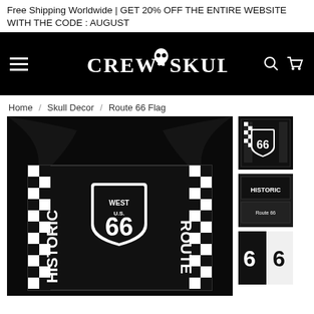Free Shipping Worldwide | GET 20% OFF THE ENTIRE WEBSITE WITH THE CODE : AUGUST
[Figure (logo): Crew Skull brand logo with skull icon on black background nav bar]
Home / Skull Decor / Route 66 Flag
[Figure (photo): Main product image of Route 66 black flag with Historic West U.S. Route 66 design and checkered borders]
[Figure (photo): Thumbnail 1: Route 66 flag folded view]
[Figure (photo): Thumbnail 2: Route 66 flag alternate view]
[Figure (photo): Thumbnail 3: Route 66 flag close-up of design]